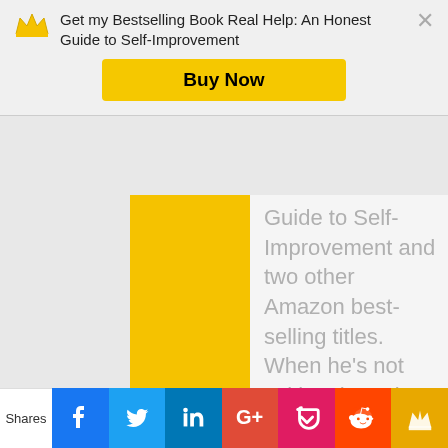Get my Bestselling Book Real Help: An Honest Guide to Self-Improvement
Buy Now
Guide to Self-Improvement and two other Amazon best-selling titles. When he's not writing, he enjoys reading, exercising, eating chicken wings, and occasionally
Shares | Facebook | Twitter | LinkedIn | Google+ | Pocket | Reddit | Crown